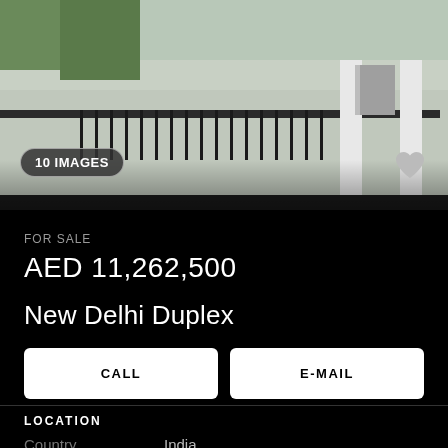[Figure (photo): Exterior photo of a multi-storey building with balcony and black iron railings, green plants visible at top, white and grey facade. Badge showing '10 IMAGES' in bottom-left, heart icon in bottom-right.]
FOR SALE
AED 11,262,500
New Delhi Duplex
CALL
E-MAIL
LOCATION
Country	India
City	New Delhi